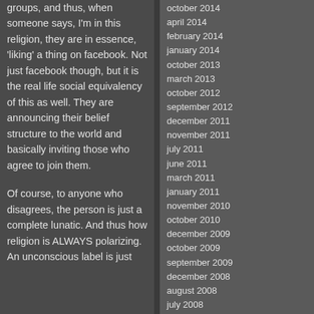groups, and thus, when someone says, I'm in this religion, they are in essence, 'liking' a thing on facebook. Not just facebook though, but it is the real life social equivalency of this as well. They are announcing their belief structure to the world and basically inviting those who agree to join them.

Of course, to anyone who disagrees, the person is just a complete lunatic. And thus how religion is ALWAYS polarizing. An unconscious label is just...
october 2014
april 2014
february 2014
january 2014
october 2013
march 2013
october 2012
september 2012
december 2011
november 2011
july 2011
june 2011
march 2011
january 2011
november 2010
october 2010
december 2009
october 2009
september 2009
december 2008
august 2008
july 2008
june 2008
march 2008
february 2008
december 2007
september 2007
august 2007
july 2007
june 2007
may 2007
december 2006
october 2006
july 2006
april 2006
february 2006
december 2005
october 2005
september 2005